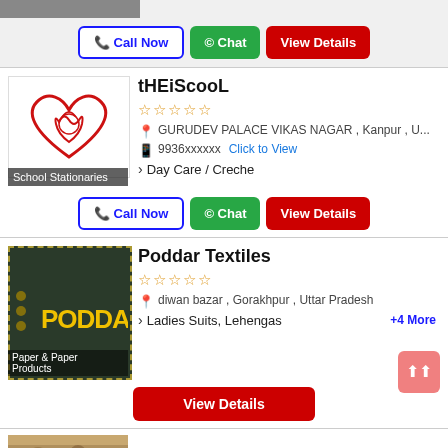[Figure (screenshot): Partial image at top of page]
Call Now | Chat | View Details (buttons for first listing)
[Figure (logo): tHEiScooL logo - heart shape with mother and child illustration. Caption: School Stationaries]
tHEiScooL
★★★★★ (empty stars)
GURUDEV PALACE VIKAS NAGAR , Kanpur , U...
9936xxxxxx  Click to View
Day Care / Creche
Call Now | Chat | View Details (buttons for tHEiScooL)
[Figure (logo): Poddar Textiles logo - dark green background with yellow PODDAR text. Caption: Paper & Paper Products]
Poddar Textiles
★★★★★ (empty stars)
diwan bazar , Gorakhpur , Uttar Pradesh
Ladies Suits, Lehengas   +4 More
View Details (button for Poddar Textiles)
Apna Bazar